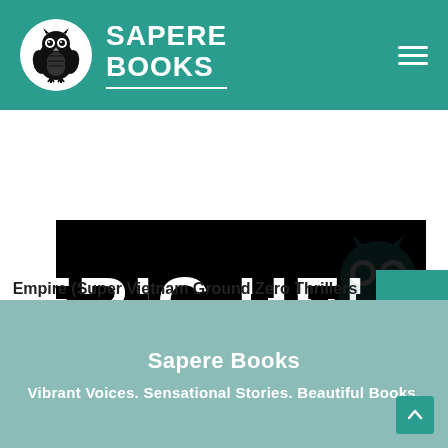SAPERE BOOKS
[Figure (logo): Eric Helm author banner in white stencil text on black background]
Empire (Super Vietnam Ground Zero Thrillers Book 4)
Sapere Books
Vibrant Voices. Sensational Stories. Beautiful Books.